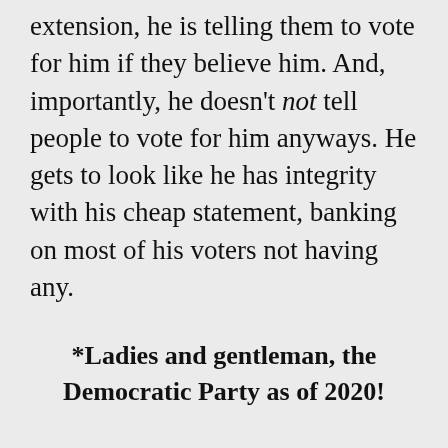extension, he is telling them to vote for him if they believe him. And, importantly, he doesn't not tell people to vote for him anyways. He gets to look like he has integrity with his cheap statement, banking on most of his voters not having any.
*Ladies and gentleman, the Democratic Party as of 2020!